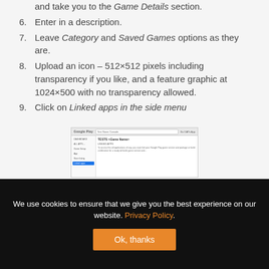and take you to the Game Details section.
6. Enter in a description.
7. Leave Category and Saved Games options as they are.
8. Upload an icon – 512×512 pixels including transparency if you like, and a feature graphic at 1024×500 with no transparency allowed.
9. Click on Linked apps in the side menu
[Figure (screenshot): Screenshot of Google Play developer console showing Linked Apps section in the side menu]
We use cookies to ensure that we give you the best experience on our website. Privacy Policy. Ok, thanks